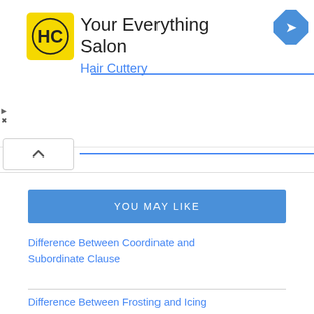[Figure (advertisement): Hair Cuttery 'Your Everything Salon' advertisement banner with yellow HC logo, blue direction arrow icon, ad controls (triangle and X symbols)]
Difference Between Coordinate and Subordinate Clause
Difference Between Frosting and Icing
Difference Between Shoot and Stem